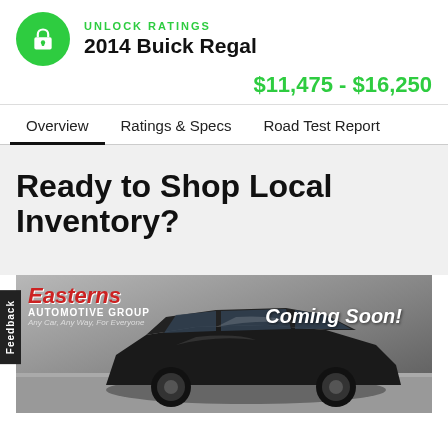[Figure (logo): Green circle with white lock icon]
UNLOCK RATINGS
2014 Buick Regal
$11,475 - $16,250
Overview
Ratings & Specs
Road Test Report
Ready to Shop Local Inventory?
[Figure (photo): Easterns Automotive Group advertisement showing a black Buick Regal with 'Coming Soon!' overlay text]
Feedback